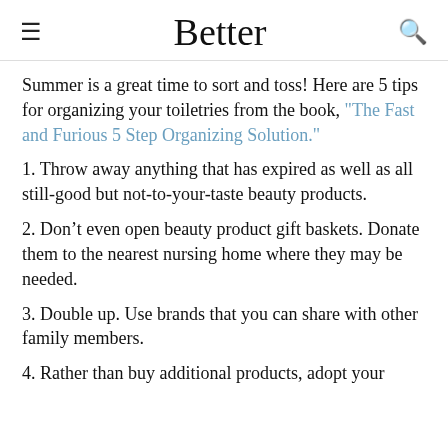Better
Summer is a great time to sort and toss! Here are 5 tips for organizing your toiletries from the book, “The Fast and Furious 5 Step Organizing Solution.”
1. Throw away anything that has expired as well as all still-good but not-to-your-taste beauty products.
2. Don’t even open beauty product gift baskets. Donate them to the nearest nursing home where they may be needed.
3. Double up. Use brands that you can share with other family members.
4. Rather than buy additional products, adopt your...